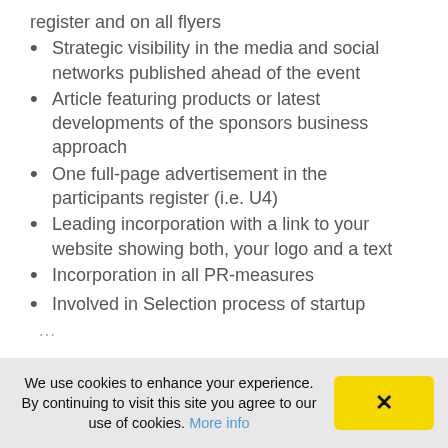register and on all flyers
Strategic visibility in the media and social networks published ahead of the event
Article featuring products or latest developments of the sponsors business approach
One full-page advertisement in the participants register (i.e. U4)
Leading incorporation with a link to your website showing both, your logo and a text
Incorporation in all PR-measures
Involved in Selection process of startup
We use cookies to enhance your experience. By continuing to visit this site you agree to our use of cookies. More info